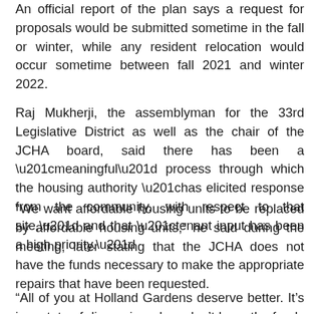An official report of the plan says a request for proposals would be submitted sometime in the fall or winter, while any resident relocation would occur sometime between fall 2021 and winter 2022.
Raj Mukherji, the assemblyman for the 33rd Legislative District as well as the chair of the JCHA board, said there has been a “meaningful” process through which the housing authority “has elicited response from the community, with respect to that site,” and that “tenant input has been a high priority.”
“We want affordable housing units to be replaced by affordable housing units,” he said during the meeting, later stating that the JCHA does not have the funds necessary to make the appropriate repairs that have been requested.
“All of you at Holland Gardens deserve better. It’s in a state of disrepair and we don’t have the funds to do what needs to be